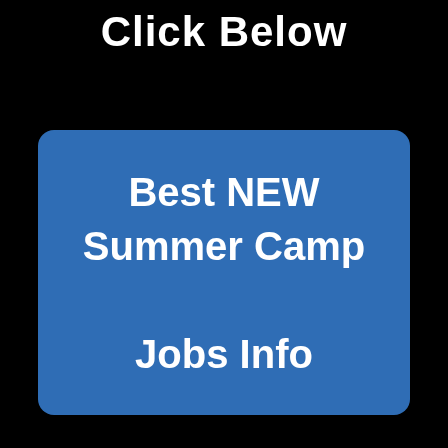Click Below
[Figure (illustration): Blue rounded rectangle button with white bold text reading 'Best NEW Summer Camp Jobs Info' on a black background]